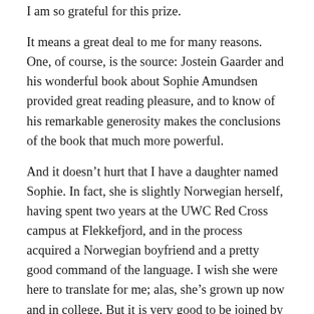I am so grateful for this prize.
It means a great deal to me for many reasons. One, of course, is the source: Jostein Gaarder and his wonderful book about Sophie Amundsen provided great reading pleasure, and to know of his remarkable generosity makes the conclusions of the book that much more powerful.
And it doesn't hurt that I have a daughter named Sophie. In fact, she is slightly Norwegian herself, having spent two years at the UWC Red Cross campus at Flekkefjord, and in the process acquired a Norwegian boyfriend and a pretty good command of the language. I wish she were here to translate for me; alas, she's grown up now and in college. But it is very good to be joined by her friend Henrik's parents, Mona and Arne Gundersen.
For myself, Norway has always been the country I love the most beyond my own. Partly that's because my great vice has been